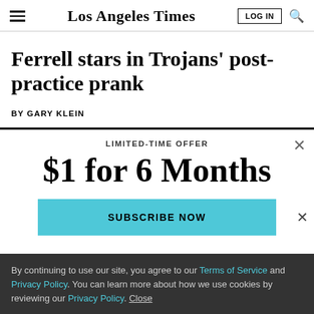Los Angeles Times
Ferrell stars in Trojans' post-practice prank
BY GARY KLEIN
LIMITED-TIME OFFER
$1 for 6 Months
SUBSCRIBE NOW
By continuing to use our site, you agree to our Terms of Service and Privacy Policy. You can learn more about how we use cookies by reviewing our Privacy Policy. Close